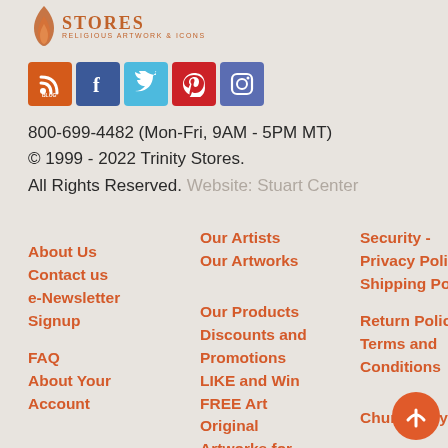[Figure (logo): Trinity Stores logo with flame icon and 'RELIGIOUS ARTWORK & ICONS' tagline]
[Figure (infographic): Social media icon row: Blog/RSS (orange), Facebook (blue), Twitter (light blue), Pinterest (red), Instagram (dark blue)]
800-699-4482 (Mon-Fri, 9AM - 5PM MT)
© 1999 - 2022 Trinity Stores.
All Rights Reserved. Website: Stuart Center
About Us
Contact us
e-Newsletter Signup
FAQ
About Your Account
Giving Back -
Our Artists
Our Artworks
Our Products
Discounts and Promotions
LIKE and Win FREE Art
Original Artworks for
Security - Privacy Policy
Shipping Policy
Return Policy
Terms and Conditions
Church Buyers
Wholesale